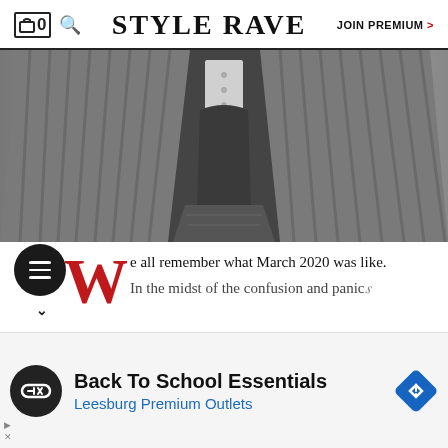STYLE RAVE  |  JOIN PREMIUM >
[Figure (photo): Black and white fashion photo showing a ribbed knit cardigan open at the front, revealing a belted corset-style top with eyelet lacing over jeans.]
e all remember what March 2020 was like. In the midst of the confusion and panic...
[Figure (infographic): Advertisement: Back To School Essentials - Leesburg Premium Outlets]